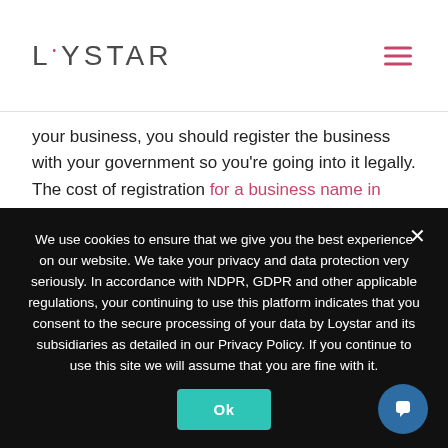LOYSTAR
your business, you should register the business with your government so you're going into it legally. The cost of registration for a business name in Nigeria, for example, is about ₦15,000. The next item to spend on would be a cold press juicer, for a start. This would set you back about ₦100,000. The rest can go into packaging, containers, and plastics e.t.c
On average, you should be able to start your juicing business with
We use cookies to ensure that we give you the best experience on our website. We take your privacy and data protection very seriously. In accordance with NDPR, GDPR and other applicable regulations, your continuing to use this platform indicates that you consent to the secure processing of your data by Loystar and its subsidiaries as detailed in our Privacy Policy. If you continue to use this site we will assume that you are fine with it.